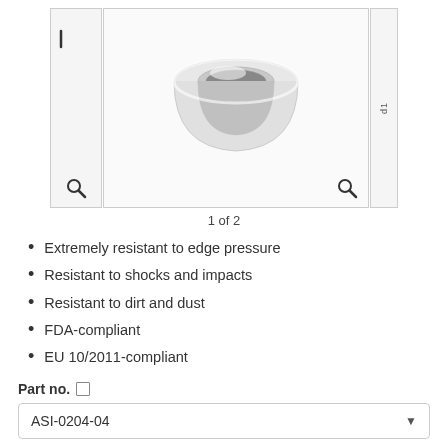[Figure (photo): White plastic ring/bushing component shown from front, with magnifying glass icons indicating zoom functionality. Side thumbnail panels on left and right.]
1 of 2
Extremely resistant to edge pressure
Resistant to shocks and impacts
Resistant to dirt and dust
FDA-compliant
EU 10/2011-compliant
Part no.
| ASI-0204-04 |